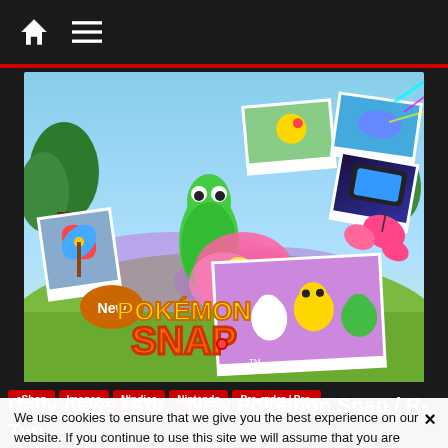Home / Menu navigation bar
[Figure (screenshot): New Pokémon Snap promotional artwork showing various Pokémon including Pikachu, Lapras, Scorbunny, Grookey, Sobble, and Beautifly in colorful nature environments with photo cards scattered. The game logo 'New Pokémon Snap TM' is visible in the lower left.]
eShop
Images
Nindies
Nintendo
Pre-order / Pre-purchase
Sales
Switch
Videos
We use cookies to ensure that we give you the best experience on our website. If you continue to use this site we will assume that you are happy with it.
I understand | Privacy policy
Daily news (Apr... New Pokémon Snap / R-Typ... Final 2...
23 April 2021 · Lite Agent · Social Media, Banner, News